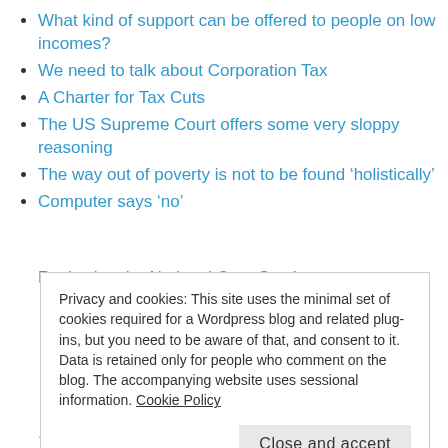What kind of support can be offered to people on low incomes?
We need to talk about Corporation Tax
A Charter for Tax Cuts
The US Supreme Court offers some very sloppy reasoning
The way out of poverty is not to be found ‘holistically’
Computer says ‘no’
Reviewing the National Care Service...
Privacy and cookies: This site uses the minimal set of cookies required for a Wordpress blog and related plug-ins, but you need to be aware of that, and consent to it. Data is retained only for people who comment on the blog. The accompanying website uses sessional information. Cookie Policy
...is not always possible, this...